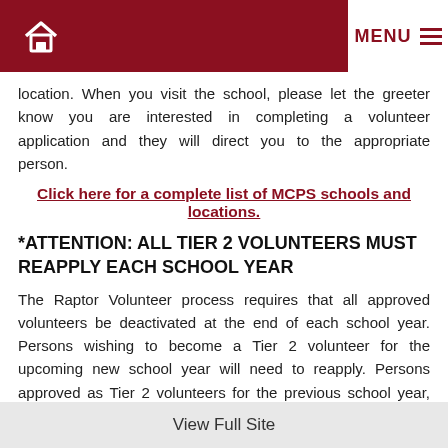Home | MENU
location. When you visit the school, please let the greeter know you are interested in completing a volunteer application and they will direct you to the appropriate person.
Click here for a complete list of MCPS schools and locations.
*ATTENTION: ALL TIER 2 VOLUNTEERS MUST REAPPLY EACH SCHOOL YEAR
The Raptor Volunteer process requires that all approved volunteers be deactivated at the end of each school year. Persons wishing to become a Tier 2 volunteer for the upcoming new school year will need to reapply. Persons approved as Tier 2 volunteers for the previous school year, must reapply but will not need a new background check.
View Full Site